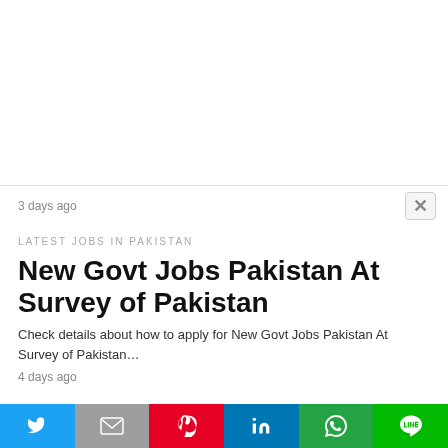3 days ago
LATEST JOBS IN PAKISTAN
New Govt Jobs Pakistan At Survey of Pakistan
Check details about how to apply for New Govt Jobs Pakistan At Survey of Pakistan…
4 days ago
[Figure (photo): Survey of Pakistan emblem with Urdu text logo banner, blue stripe below with colorful circles]
Twitter | Gmail | Pinterest | LinkedIn | WhatsApp | Line share buttons